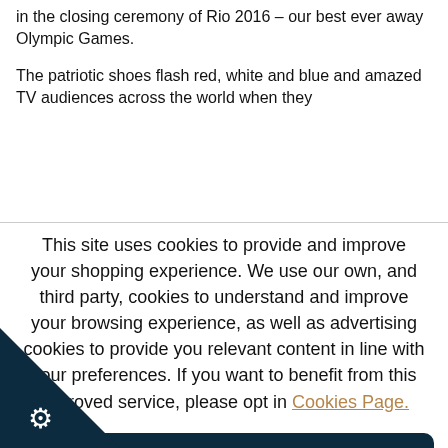in the closing ceremony of Rio 2016 – our best ever away Olympic Games.
The patriotic shoes flash red, white and blue and amazed TV audiences across the world when they
This site uses cookies to provide and improve your shopping experience. We use our own, and third party, cookies to understand and improve your browsing experience, as well as advertising cookies to provide you relevant content in line with your preferences. If you want to benefit from this improved service, please opt in Cookies Page.
ACCEPT COOKIES
REJECT ALL COOKIES
MANAGE PREFERENCES